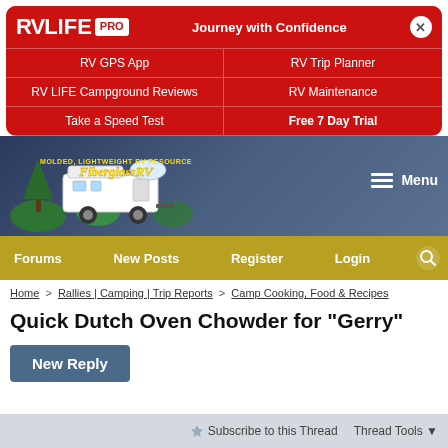[Figure (screenshot): RV LIFE PRO advertisement banner with red background, logo, Journey with Confidence tagline, close button, and grid of links: RV GPS App, RV Trip Planner, RV LIFE Campground Reviews, RV Maintenance, Take a Speed Test, Free 7 Day Trial]
[Figure (screenshot): FiberglassRV.com website header with logo showing a white fiberglass RV camper illustration with text 'Molded, Lightweight RV Resource' and 'FiberglassRV' in stylized font, on a dark blue background with blurred RV vehicles, and a Menu hamburger button]
[Figure (screenshot): Navigation bar with golden/yellow background and links: Forums, New Posts, Register, Login, and a search icon]
Home > Rallies | Camping | Trip Reports > Camp Cooking, Food & Recipes
Quick Dutch Oven Chowder for "Gerry"
New Reply
Subscribe to this Thread   Thread Tools